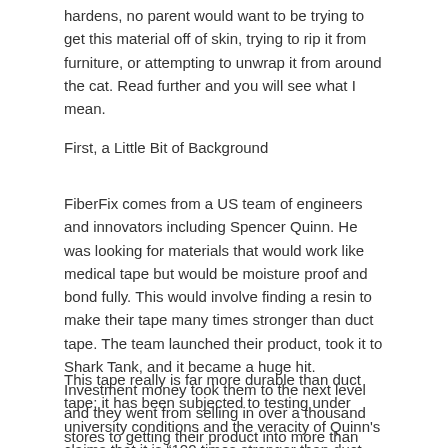hardens, no parent would want to be trying to get this material off of skin, trying to rip it from furniture, or attempting to unwrap it from around the cat. Read further and you will see what I mean.
First, a Little Bit of Background
FiberFix comes from a US team of engineers and innovators including Spencer Quinn. He was looking for materials that would work like medical tape but would be moisture proof and bond fully. This would involve finding a resin to make their tape many times stronger than duct tape. The team launched their product, took it to Shark Tank, and it became a huge hit. Investment money took them to the next level and they went from selling in over a thousand stores to getting their product into more than 30,000 locations.
This tape really is far more durable than duct tape; it has been subjected to testing under university conditions and the veracity of Quinn's claims that it is “100 times stronger than duct tape” are revealed to be an understatement every time someone finds a